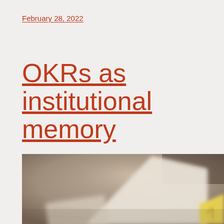February 28, 2022
OKRs as institutional memory
[Figure (photo): A blurred close-up photograph of papers or documents on a table, with a yellow sticky note visible in the lower right corner. The image has a warm sepia/beige tone.]